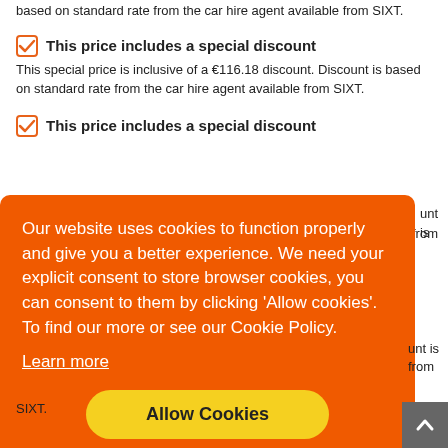This special price is inclusive of a €102.31 discount. Discount is based on standard rate from the car hire agent available from SIXT.
This price includes a special discount
This special price is inclusive of a €116.18 discount. Discount is based on standard rate from the car hire agent available from SIXT.
This price includes a special discount
[Figure (screenshot): Orange cookie consent popup overlay with text: 'Our website uses cookies to function properly and give you a better experience. We need your explicit consent to store browser cookies, you can consent to them by clicking Allow cookies. To find our more or see our Cookie Policy.' with a 'Learn more' link and a yellow 'Allow Cookies' button.]
unt is from
unt is from
nt is from SIXT.